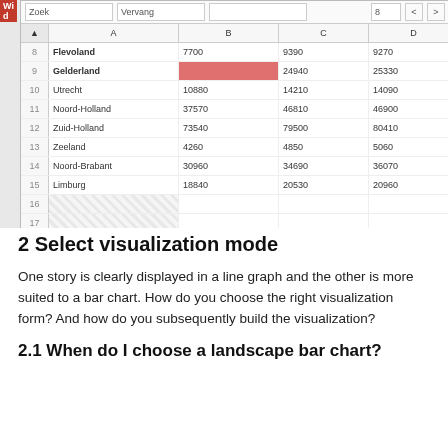[Figure (screenshot): Screenshot of a spreadsheet application showing Dutch provinces data with columns A (province names), B, C, D and partial column. Rows 8-18 visible. Row 8: Flevoland, 7700, 9390, 9270, 951x. Row 9: Gelderland, [red cell], 24940, 25330, 252x. Row 10: Utrecht, 10880, 14210, 14090, 153x. Row 11: Noord-Holland, 37570, 46810, 46900, 502x. Row 12: Zuid-Holland, 73540, 79500, 80410, 815x. Row 13: Zeeland, 4260, 4850, 5060, 488x. Row 14: Noord-Brabant, 30960, 34690, 36070, 363x. Row 15: Limburg, 18840, 20530, 20960, 207. Rows 16-18 empty. Toolbar shows Zoek, Vervang, and navigation buttons with number 8.]
2 Select visualization mode
One story is clearly displayed in a line graph and the other is more suited to a bar chart. How do you choose the right visualization form? And how do you subsequently build the visualization?
2.1 When do I choose a landscape bar chart?